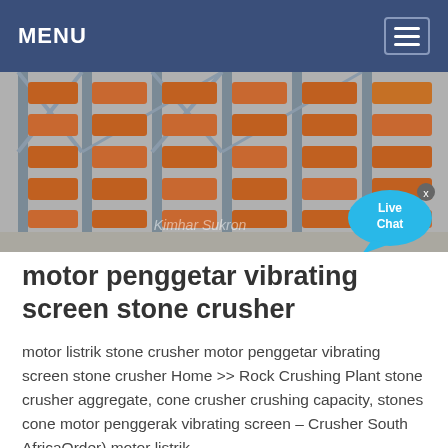MENU
[Figure (photo): Industrial vibrating screen equipment with orange/terracotta colored components arranged on metal frame racks. A 'Live Chat' speech bubble overlay appears in the bottom right corner.]
motor penggetar vibrating screen stone crusher
motor listrik stone crusher motor penggetar vibrating screen stone crusher Home >> Rock Crushing Plant stone crusher aggregate, cone crusher crushing capacity, stones cone motor penggerak vibrating screen – Crusher South AfricaOrder) motor listrik